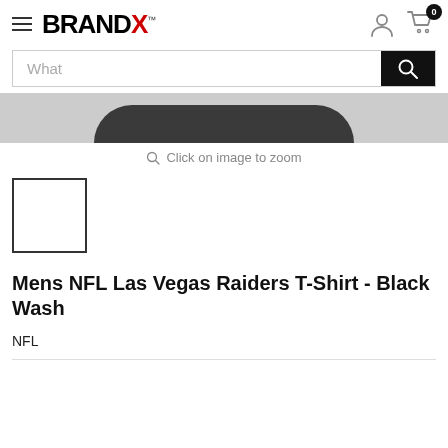BRANDX™ — navigation header with hamburger menu, logo, user icon, cart icon (0 items)
[Figure (screenshot): Search bar with placeholder text 'What' and a black search button with magnifying glass icon]
[Figure (photo): Partial view of dark grey/black washed t-shirt product image at top of product page]
Click on image to zoom
[Figure (photo): Small white square thumbnail of the product]
Mens NFL Las Vegas Raiders T-Shirt - Black Wash
NFL